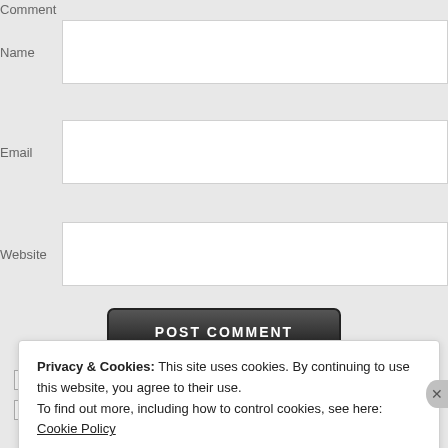Comment
Name
Email
Website
POST COMMENT
Notify me of new comments via email.
Notify me of new posts via email.
Privacy & Cookies: This site uses cookies. By continuing to use this website, you agree to their use.
To find out more, including how to control cookies, see here: Cookie Policy
Close and accept